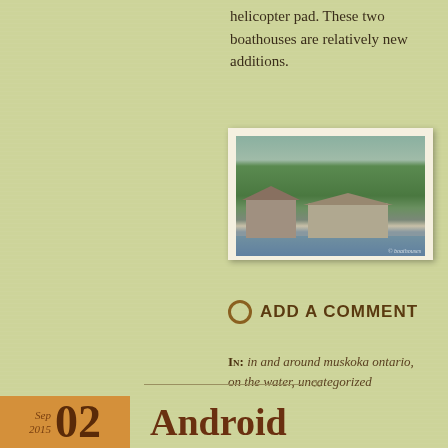helicopter pad. These two boathouses are relatively new additions.
[Figure (photo): Two boathouses at the edge of a lake, with dense green forest in the background and calm water in the foreground.]
ADD A COMMENT
In: in and around muskoka ontario, on the water, uncategorized
Sep 2015 02 Android